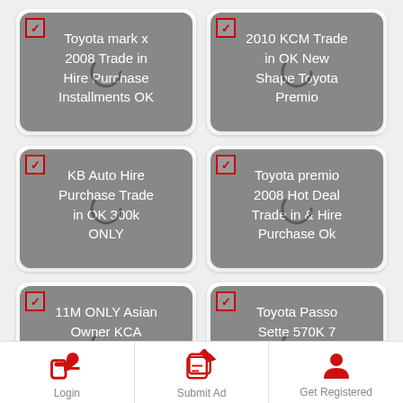[Figure (screenshot): Mobile app listing card: Toyota mark x 2008 Trade in Hire Purchase Installments OK]
[Figure (screenshot): Mobile app listing card: 2010 KCM Trade in OK New Shape Toyota Premio]
[Figure (screenshot): Mobile app listing card: KB Auto Hire Purchase Trade in OK 300k ONLY]
[Figure (screenshot): Mobile app listing card: Toyota premio 2008 Hot Deal Trade in & Hire Purchase Ok]
[Figure (screenshot): Mobile app listing card: 11M ONLY Asian Owner KCA Toyota Rav4 Trade in OK]
[Figure (screenshot): Mobile app listing card: Toyota Passo Sette 570K 7 Seater hottest deal]
[Figure (screenshot): Partially visible bottom row cards]
Login | Submit Ad | Get Registered